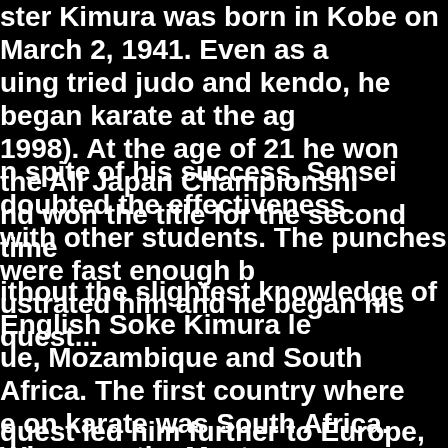ster Kimura was born in Kobe on March 2, 1941. Even as a uing tried judo and kendo, he began karate at the ag 1998). At the age of 21 he won the All Japan Championshi nd won the title for the second time
n spite of his success, Sensei doubted the effectiveness with other students. The punches were fast enough b ustrated him and he began his quest...
ithout the slightest knowledge of English Soke Kimura le ue, Mozambique and South Africa. The first country where e on karate was South Africa. Wherever the Master was ors were the result.
quest led him further to Europe, where he then settled i